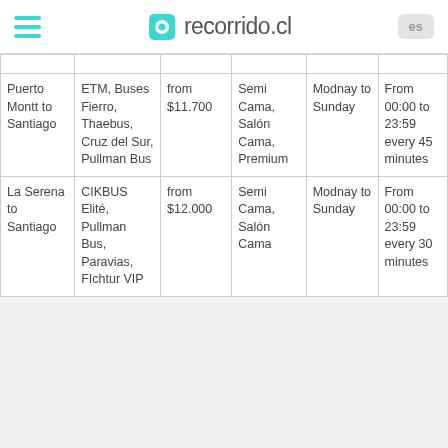recorrido.cl
| Route | Companies | Price | Classes | Days | Schedule |
| --- | --- | --- | --- | --- | --- |
| Puerto Montt to Santiago | ETM, Buses Fierro, Thaebus, Cruz del Sur, Pullman Bus | from $11.700 | Semi Cama, Salón Cama, Premium | Modnay to Sunday | From 00:00 to 23:59 every 45 minutes |
| La Serena to Santiago | CIKBUS Elité, Pullman Bus, Paravias, FIchtur VIP | from $12.000 | Semi Cama, Salón Cama | Modnay to Sunday | From 00:00 to 23:59 every 30 minutes |